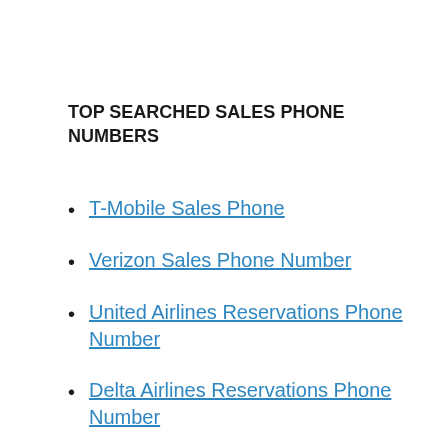TOP SEARCHED SALES PHONE NUMBERS
T-Mobile Sales Phone
Verizon Sales Phone Number
United Airlines Reservations Phone Number
Delta Airlines Reservations Phone Number